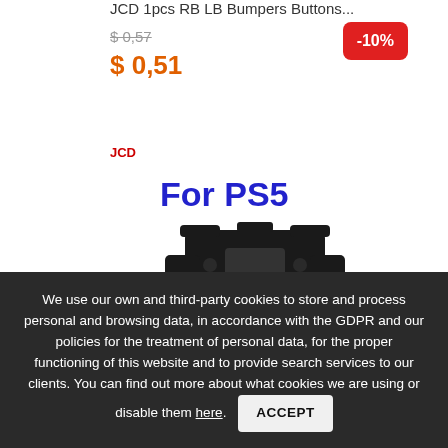JCD 1pcs RB LB Bumpers Buttons...
$ 0,57
-10%
$ 0,51
JCD
For PS5
[Figure (photo): Photo of a PS5 controller internal bracket/frame component, black plastic, showing the inner mechanical structure]
We use our own and third-party cookies to store and process personal and browsing data, in accordance with the GDPR and our policies for the treatment of personal data, for the proper functioning of this website and to provide search services to our clients. You can find out more about what cookies we are using or disable them here.